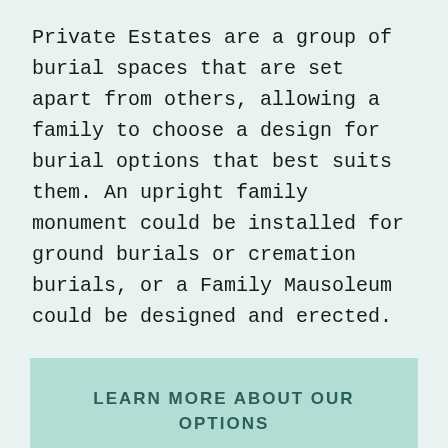Private Estates are a group of burial spaces that are set apart from others, allowing a family to choose a design for burial options that best suits them. An upright family monument could be installed for ground burials or cremation burials, or a Family Mausoleum could be designed and erected.
LEARN MORE ABOUT OUR OPTIONS